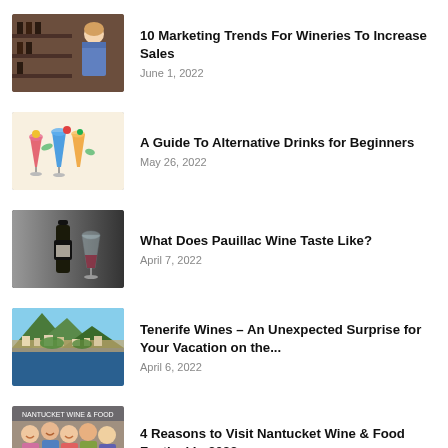[Figure (photo): Woman browsing wine bottles in a wine shop]
10 Marketing Trends For Wineries To Increase Sales
June 1, 2022
[Figure (photo): Colorful cocktail drinks arranged together]
A Guide To Alternative Drinks for Beginners
May 26, 2022
[Figure (photo): Wine bottle and glass on dark background]
What Does Pauillac Wine Taste Like?
April 7, 2022
[Figure (photo): Coastal landscape with mountains and town, Tenerife]
Tenerife Wines – An Unexpected Surprise for Your Vacation on the...
April 6, 2022
[Figure (photo): Group of people smiling at a wine and food festival]
4 Reasons to Visit Nantucket Wine & Food Festival In 2022